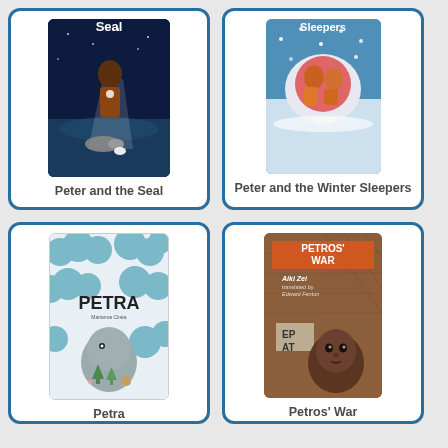[Figure (illustration): Book cover for 'Peter and the Seal' showing a child with a flashlight near water at night with a seal]
Peter and the Seal
[Figure (illustration): Book cover for 'Peter and the Winter Sleepers' showing children sledding in snowy scene]
Peter and the Winter Sleepers
[Figure (illustration): Book cover for 'Petra' showing a large grey rock-like creature with trees and cloud shapes on light background]
Petra
[Figure (illustration): Book cover for 'Petros War' by Alki Zei, translated by Edward Fenton, showing a child's face with brown/orange tones]
Petros' War